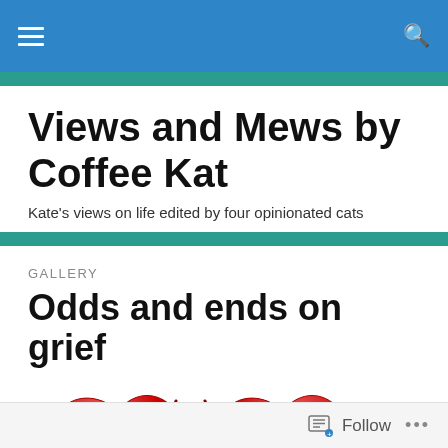Views and Mews by Coffee Kat — navigation bar
Views and Mews by Coffee Kat
Kate's views on life edited by four opinionated cats
GALLERY
Odds and ends on grief
[Figure (photo): Broken red heart emoji, split in two halves, partially visible at bottom of page]
Follow ...